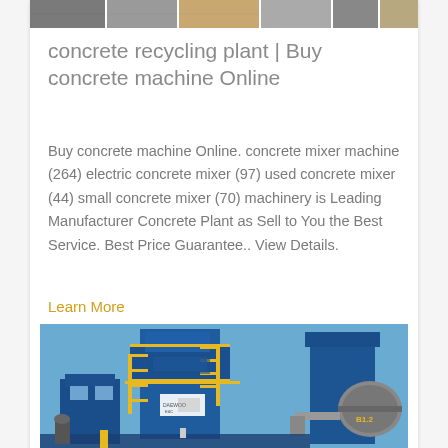[Figure (photo): Cropped top strip showing multiple images of machinery/plant equipment]
concrete recycling plant | Buy concrete machine Online
Buy concrete machine Online. concrete mixer machine (264) electric concrete mixer (97) used concrete mixer (44) small concrete mixer (70) machinery is Leading Manufacturer Concrete Plant as Sell to You the Best Service. Best Price Guarantee.. View Details.
Learn More
[Figure (photo): Large blue industrial concrete/asphalt plant (DAEWOO brand) with yellow metal staircases and railings, cylindrical silo and drum components, against a clear blue sky]